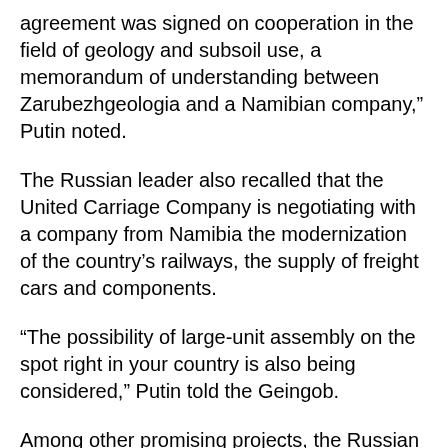agreement was signed on cooperation in the field of geology and subsoil use, a memorandum of understanding between Zarubezhgeologia and a Namibian company,” Putin noted.
The Russian leader also recalled that the United Carriage Company is negotiating with a company from Namibia the modernization of the country’s railways, the supply of freight cars and components.
“The possibility of large-unit assembly on the spot right in your country is also being considered,” Putin told the Geingob.
Among other promising projects, the Russian president named “the construction of ground-based infrastructure for air travel”, cooperation in hydropower and the agro-industrial sector.
“It implies importing Namibian agricultural products, in particular meat and fish products. We are also counting on the possibility of